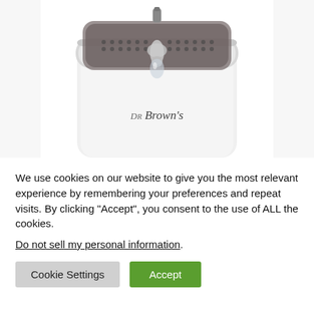[Figure (photo): Top-down view of a white Dr. Brown's baby bottle sterilizer or warmer appliance with a transparent dark lid showing internal components, silver metallic accents, and the Dr. Brown's logo on the white body.]
We use cookies on our website to give you the most relevant experience by remembering your preferences and repeat visits. By clicking “Accept”, you consent to the use of ALL the cookies.
Do not sell my personal information.
Cookie Settings
Accept